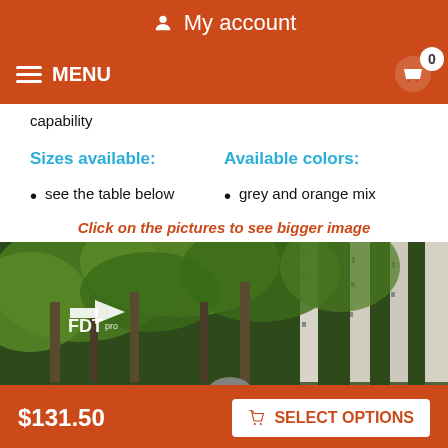My account
MENU  0
capability
Sizes available:
Available colors:
see the table below
grey and orange mix
Click on the pictures to see bigger image
[Figure (photo): Outdoor forest scene with birch trees and a person wearing a grey hoodie with FDT Pro branded jacket. Live chat offline button overlay.]
$131.50  SELECT OPTIONS